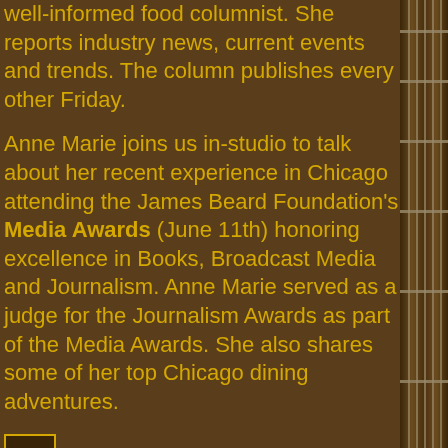well-informed food columnist. She reports industry news, current events and trends. The column publishes every other Friday.
Anne Marie joins us in-studio to talk about her recent experience in Chicago attending the James Beard Foundation's Media Awards (June 11th) honoring excellence in Books, Broadcast Media and Journalism. Anne Marie served as a judge for the Journalism Awards as part of the Media Awards. She also shares some of her top Chicago dining adventures.
[Figure (other): Audio play button icon]
Podcast: Play in new window | Download
Subscribe: Apple Podcasts | RSS
[Figure (photo): Guitar neck visible on the right side of the page]